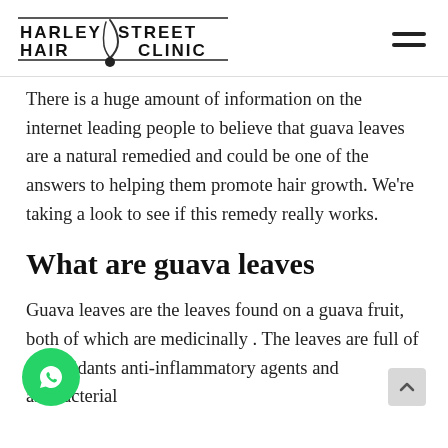HARLEY STREET HAIR CLINIC
There is a huge amount of information on the internet leading people to believe that guava leaves are a natural remedied and could be one of the answers to helping them promote hair growth. We're taking a look to see if this remedy really works.
What are guava leaves
Guava leaves are the leaves found on a guava fruit, both of which are medicinally . The leaves are full of antioxidants anti-inflammatory agents and antibacterial